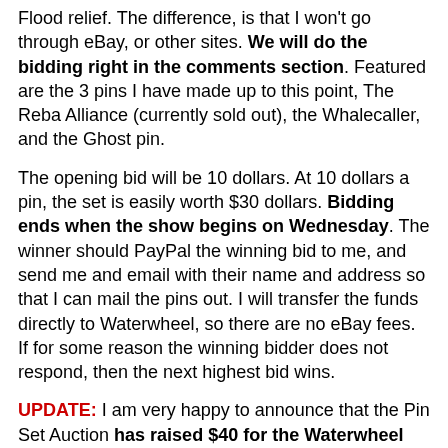Flood relief. The difference, is that I won't go through eBay, or other sites. We will do the bidding right in the comments section. Featured are the 3 pins I have made up to this point, The Reba Alliance (currently sold out), the Whalecaller, and the Ghost pin.
The opening bid will be 10 dollars. At 10 dollars a pin, the set is easily worth $30 dollars. Bidding ends when the show begins on Wednesday. The winner should PayPal the winning bid to me, and send me and email with their name and address so that I can mail the pins out. I will transfer the funds directly to Waterwheel, so there are no eBay fees. If for some reason the winning bidder does not respond, then the next highest bid wins.
UPDATE: I am very happy to announce that the Pin Set Auction has raised $40 for the Waterwheel Foundation. Thanks very much to everyone who bid. Congrats to Reality Tour user Slab for the winning $40 dollar bid. Slab's pin get mailed out tomorrow, and the Waterwheel donation gets made tonight.